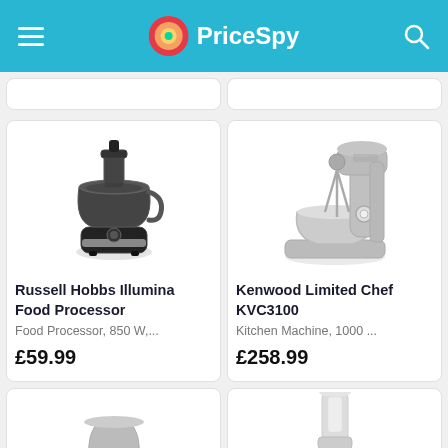PriceSpy
[Figure (photo): Russell Hobbs Illumina Food Processor product image]
Russell Hobbs Illumina Food Processor
Food Processor, 850 W,...
£59.99
[Figure (photo): Kenwood Limited Chef KVC3100 product image]
Kenwood Limited Chef KVC3100
Kitchen Machine, 1000 ...
£258.99
[Figure (photo): Partial product image bottom left]
[Figure (photo): Partial product image bottom right]